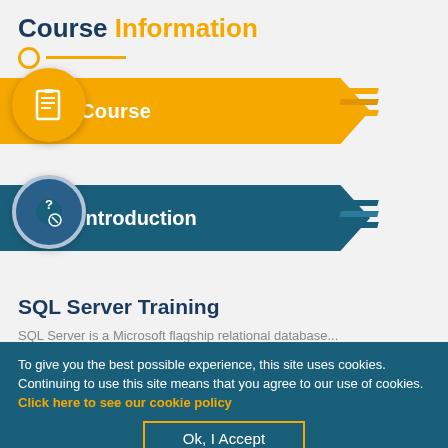Course Information
[Figure (infographic): Orange banner with document/notepad icon and text 'Course']
[Figure (infographic): Teal banner with question/help icon and text 'Introduction']
SQL Server Training
SQL Server is a Microsoft... (partially visible)
To give you the best possible experience, this site uses cookies. Continuing to use this site means that you agree to our use of cookies. Click here to see our cookie policy
[Figure (screenshot): Bottom navigation bar with email, search, cart, and phone icons on orange background]